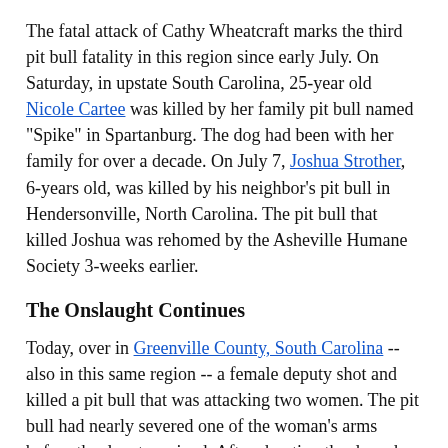The fatal attack of Cathy Wheatcraft marks the third pit bull fatality in this region since early July. On Saturday, in upstate South Carolina, 25-year old Nicole Cartee was killed by her family pit bull named "Spike" in Spartanburg. The dog had been with her family for over a decade. On July 7, Joshua Strother, 6-years old, was killed by his neighbor's pit bull in Hendersonville, North Carolina. The pit bull that killed Joshua was rehomed by the Asheville Humane Society 3-weeks earlier.
The Onslaught Continues
Today, over in Greenville County, South Carolina -- also in this same region -- a female deputy shot and killed a pit bull that was attacking two women. The pit bull had nearly severed one of the woman's arms before the deputy arrived. After shooting the dog, she applied a tourniquet to the woman's upper arm and her leg. Master Deputy Jonathan Smith said, "She saved the lives of two people here today...